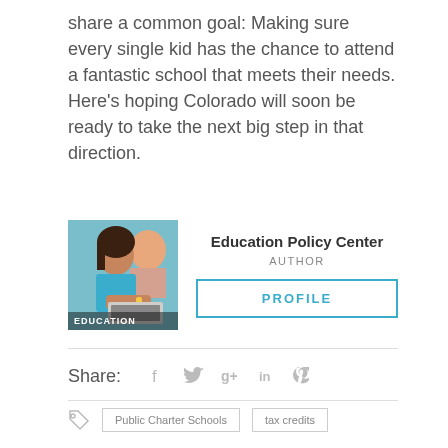share a common goal: Making sure every single kid has the chance to attend a fantastic school that meets their needs. Here's hoping Colorado will soon be ready to take the next big step in that direction.
[Figure (photo): Photo of a young girl working on a tablet/laptop, with 'EDUCATION' label overlay at the bottom]
Education Policy Center
AUTHOR
PROFILE
Share:
Public Charter Schools  tax credits